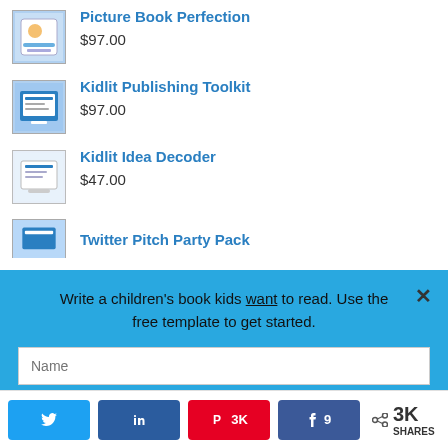Picture Book Perfection
$97.00
Kidlit Publishing Toolkit
$97.00
Kidlit Idea Decoder
$47.00
Twitter Pitch Party Pack (partial)
Write a children's book kids want to read. Use the free template to get started.
Name
Email
Twitter  in  Pinterest 3K  Facebook 9  < 3K SHARES